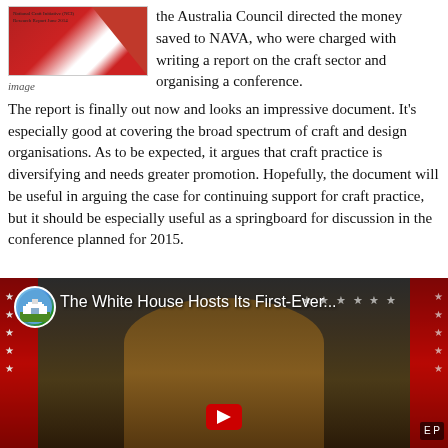[Figure (photo): Cover image of a report with red diagonal design, text reading 'National Craft Initiative (NCI) Research Report June 2014']
image
the Australia Council directed the money saved to NAVA, who were charged with writing a report on the craft sector and organising a conference. The report is finally out now and looks an impressive document. It's especially good at covering the broad spectrum of craft and design organisations. As to be expected, it argues that craft practice is diversifying and needs greater promotion. Hopefully, the document will be useful in arguing the case for continuing support for craft practice, but it should be especially useful as a springboard for discussion in the conference planned for 2015.
[Figure (screenshot): YouTube video thumbnail showing 'The White House Hosts Its First-Ever...' with a person (Barack Obama) smiling at a podium with American flags in the background]